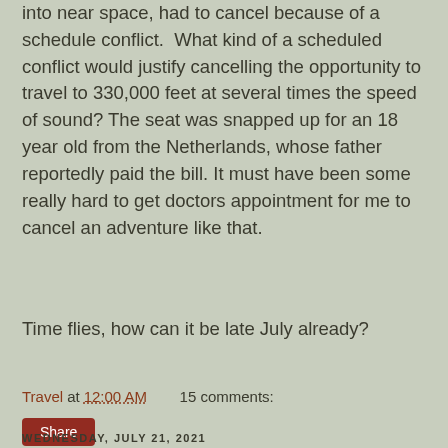into near space, had to cancel because of a schedule conflict.  What kind of a scheduled conflict would justify cancelling the opportunity to travel to 330,000 feet at several times the speed of sound? The seat was snapped up for an 18 year old from the Netherlands, whose father reportedly paid the bill. It must have been some really hard to get doctors appointment for me to cancel an adventure like that.
Time flies, how can it be late July already?
Travel at 12:00 AM    15 comments:
WEDNESDAY, JULY 21, 2021